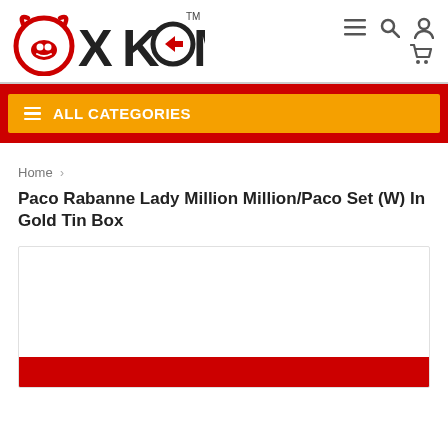[Figure (logo): OXKOM logo with red bull/ox head icon and bold OXKOM text with TM mark]
ALL CATEGORIES
Home >
Paco Rabanne Lady Million Million/Paco Set (W) In Gold Tin Box
[Figure (photo): Product image area — white box with red bar at bottom, product not yet loaded]